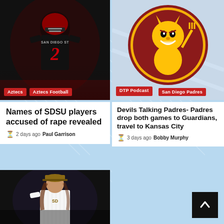[Figure (photo): SDSU football player wearing number 2 jersey in red and black uniform]
Aztecs   Aztecs Football
[Figure (logo): Arizona State University Sparky mascot logo in maroon and gold]
DTP Podcast   San Diego Padres
Names of SDSU players accused of rape revealed
2 days ago  Paul Garrison
Devils Talking Padres- Padres drop both games to Guardians, travel to Kansas City
3 days ago  Bobby Murphy
[Figure (photo): San Diego Padres baseball player in white pinstripe uniform with hat]